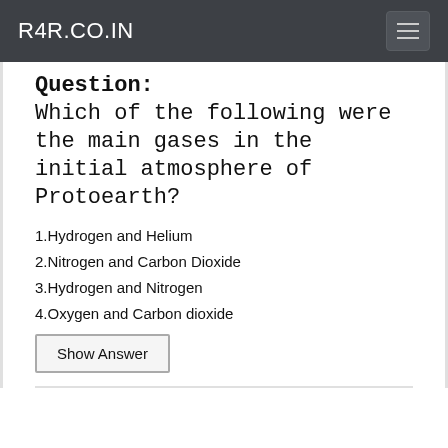R4R.CO.IN
Question:
Which of the following were the main gases in the initial atmosphere of Protoearth?
1.Hydrogen and Helium
2.Nitrogen and Carbon Dioxide
3.Hydrogen and Nitrogen
4.Oxygen and Carbon dioxide
Show Answer